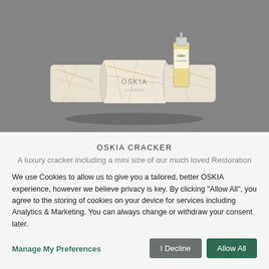[Figure (photo): OSKIA branded Christmas cracker and a small perfume/serum bottle with silver cap, displayed on a light marble/cream textured surface against a grey background.]
OSKIA CRACKER
A luxury cracker including a mini size of our much loved Restoration
We use Cookies to allow us to give you a tailored, better OSKIA experience, however we believe privacy is key. By clicking "Allow All", you agree to the storing of cookies on your device for services including Analytics & Marketing. You can always change or withdraw your consent later.
Manage My Preferences
I Decline
Allow All